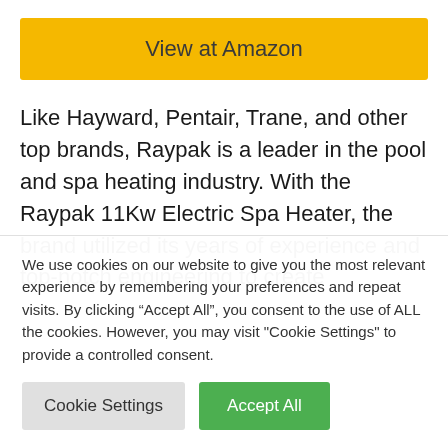View at Amazon
Like Hayward, Pentair, Trane, and other top brands, Raypak is a leader in the pool and spa heating industry. With the Raypak 11Kw Electric Spa Heater, the brand utilized its years of experience and top-notch engineering to create
We use cookies on our website to give you the most relevant experience by remembering your preferences and repeat visits. By clicking “Accept All”, you consent to the use of ALL the cookies. However, you may visit "Cookie Settings" to provide a controlled consent.